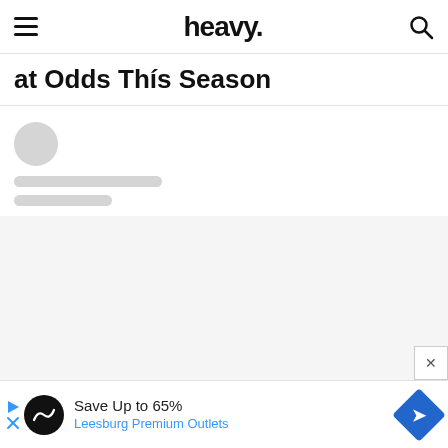heavy.
at Odds This Season
[Figure (other): Author avatar placeholder skeleton loading state with two skeleton lines below]
[Figure (other): Advertisement banner: Save Up to 65% Leesburg Premium Outlets]
[Figure (other): Close button X for advertisement]